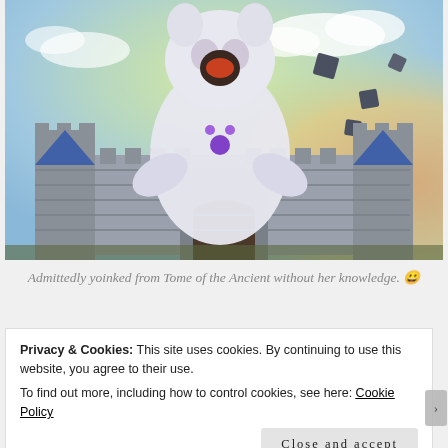[Figure (screenshot): A World of Warcraft style fantasy game screenshot showing a large white fluffy creature (possibly a cat or yeti) rearing up with glowing purple orb accessories, in front of a stone castle with blue-capped towers, against a colorful sky with floating dark square shapes.]
Admittedly yoinked from Tome of the Ancient without her knowledge. 😀
Privacy & Cookies: This site uses cookies. By continuing to use this website, you agree to their use.
To find out more, including how to control cookies, see here: Cookie Policy
Close and accept